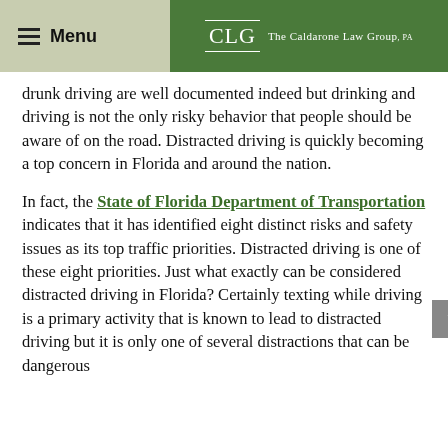Menu | CLG The Caldarone Law Group, PA
drunk driving are well documented indeed but drinking and driving is not the only risky behavior that people should be aware of on the road. Distracted driving is quickly becoming a top concern in Florida and around the nation.
In fact, the State of Florida Department of Transportation indicates that it has identified eight distinct risks and safety issues as its top traffic priorities. Distracted driving is one of these eight priorities. Just what exactly can be considered distracted driving in Florida? Certainly texting while driving is a primary activity that is known to lead to distracted driving but it is only one of several distractions that can be dangerous